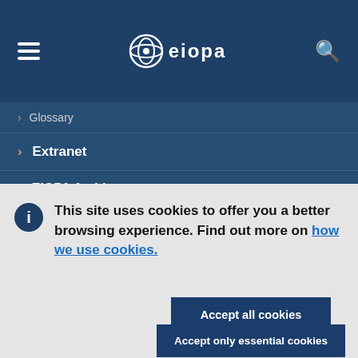[Figure (screenshot): EIOPA website navigation header with hamburger menu, EIOPA logo, and search icon on dark blue background]
> Glossary
> Extranet
> EIOPA Archive
This site uses cookies to offer you a better browsing experience. Find out more on how we use cookies.
Accept all cookies
Accept only essential cookies